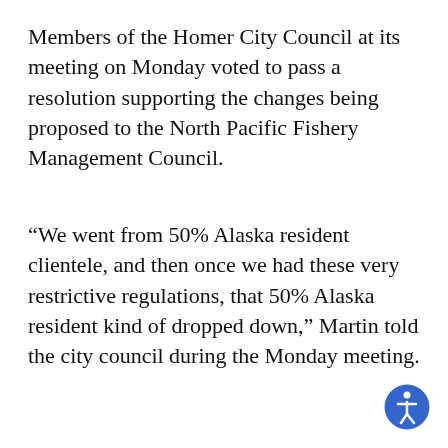Members of the Homer City Council at its meeting on Monday voted to pass a resolution supporting the changes being proposed to the North Pacific Fishery Management Council.
“We went from 50% Alaska resident clientele, and then once we had these very restrictive regulations, that 50% Alaska resident kind of dropped down,” Martin told the city council during the Monday meeting.
ADVERTISEMENT
[Figure (illustration): Blue circular accessibility icon with a white human figure in motion]